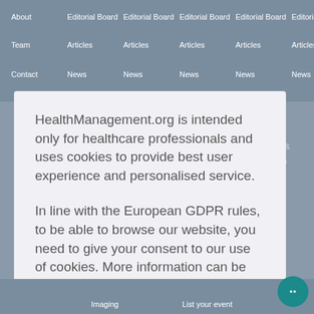About | Editorial Board | Editorial Board | Editorial Board | Editorial Board | Editorial Board
Team | Articles | Articles | Articles | Articles | Articles
Contact | News | News | News | News | News
HealthManagement.org is intended only for healthcare professionals and uses cookies to provide best user experience and personalised service.
In line with the European GDPR rules, to be able to browse our website, you need to give your consent to our use of cookies. More information can be found in our Cookie Policy.
I am a healthcare professional and consent to the use of cookies
Imaging    List your event